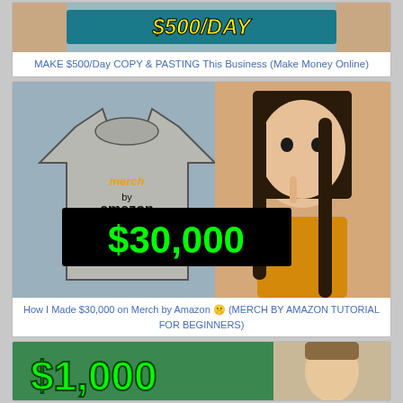[Figure (screenshot): Thumbnail showing hands holding cash with '$500/DAY' text overlay]
MAKE $500/Day COPY & PASTING This Business (Make Money Online)
[Figure (screenshot): Thumbnail showing a Merch by Amazon t-shirt and a woman with finger to lips, with '$30,000' in green text on black background]
How I Made $30,000 on Merch by Amazon 🤫 (MERCH BY AMAZON TUTORIAL FOR BEGINNERS)
[Figure (screenshot): Thumbnail showing '$1,000' in large green text with a man in background]